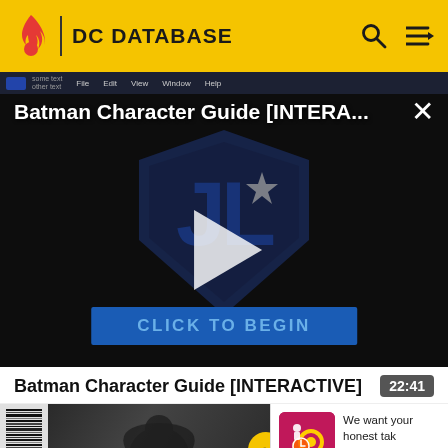DC DATABASE
[Figure (screenshot): DC Database website screenshot showing a video player with title 'Batman Character Guide [INTERA...' overlaid on a dark background with a Justice League shield logo and play button, plus a 'CLICK TO BEGIN' button]
Batman Character Guide [INTERACTIVE]
22:41
[Figure (photo): Batman: Arkham Knight game cover/screenshot with barcode on the left side]
Batman: Arkham Knight - Gene (2015-2016)
[Figure (illustration): Survey icon - pink/magenta background with gear and clock imagery]
We want your honest tak discussions
SURVEY: ONLINE FORU